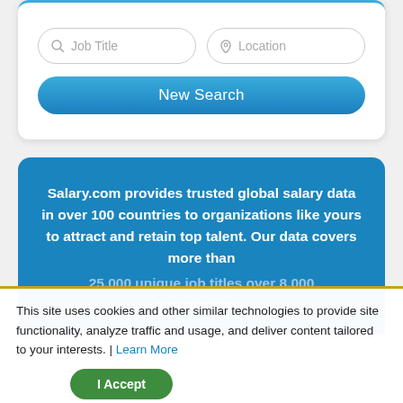[Figure (screenshot): Search card with Job Title and Location input fields and a New Search button]
Salary.com provides trusted global salary data in over 100 countries to organizations like yours to attract and retain top talent. Our data covers more than 25,000 unique job titles over 8,000 organizations.
This site uses cookies and other similar technologies to provide site functionality, analyze traffic and usage, and deliver content tailored to your interests. | Learn More
I Accept